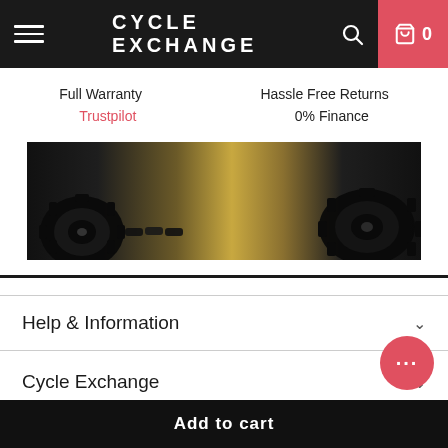CYCLE EXCHANGE
Full Warranty
Hassle Free Returns
Trustpilot
0% Finance
[Figure (photo): Close-up photo of bicycle components (gears/drivetrain) on sandy/gravel surface, dark tones with golden center]
Help & Information
Cycle Exchange
Stores
Add to cart